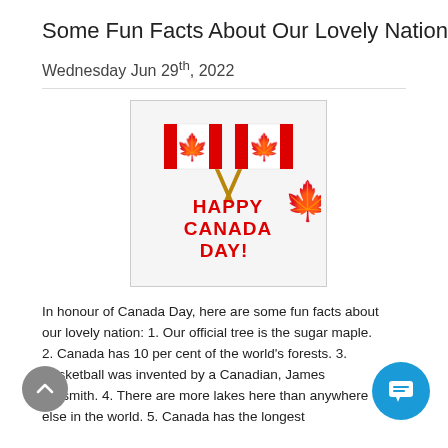Some Fun Facts About Our Lovely Nation
Wednesday Jun 29th, 2022
[Figure (illustration): Two crossed Canadian flags with text 'HAPPY CANADA DAY!' in red bold letters and a maple leaf graphic]
In honour of Canada Day, here are some fun facts about our lovely nation: 1. Our official tree is the sugar maple. 2. Canada has 10 per cent of the world's forests. 3. Basketball was invented by a Canadian, James Naismith. 4. There are more lakes here than anywhere else in the world. 5. Canada has the longest